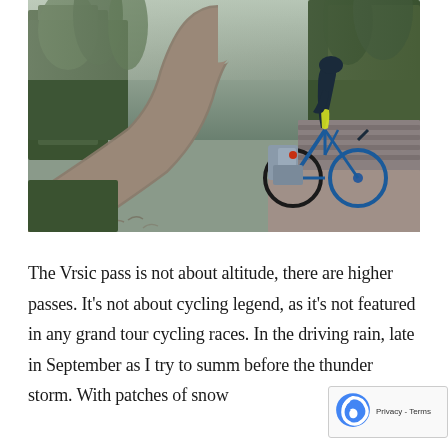[Figure (photo): A cyclist with heavy panniers riding away on a wet cobblestone mountain road surrounded by trees and fog]
The Vrsic pass is not about altitude, there are higher passes. It's not about cycling legend, as it's not featured in any grand tour cycling races. In the driving rain, late in September as I try to summ before the thunder storm. With patches of snow